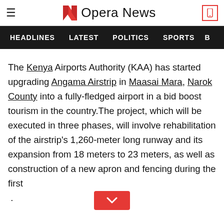Opera News
HEADLINES  LATEST  POLITICS  SPORTS  B
The Kenya Airports Authority (KAA) has started upgrading Angama Airstrip in Maasai Mara, Narok County into a fully-fledged airport in a bid boost tourism in the country.The project, which will be executed in three phases, will involve rehabilitation of the airstrip's 1,260-meter long runway and its expansion from 18 meters to 23 meters, as well as construction of a new apron and fencing during the first .